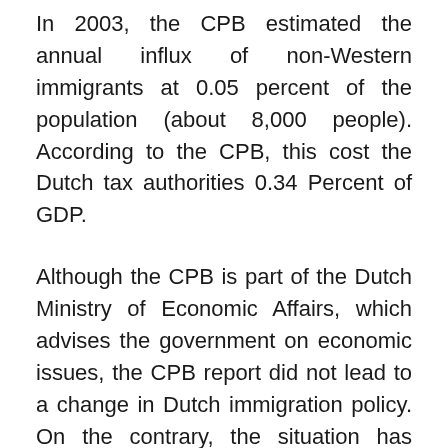In 2003, the CPB estimated the annual influx of non-Western immigrants at 0.05 percent of the population (about 8,000 people). According to the CPB, this cost the Dutch tax authorities 0.34 Percent of GDP.
Although the CPB is part of the Dutch Ministry of Economic Affairs, which advises the government on economic issues, the CPB report did not lead to a change in Dutch immigration policy. On the contrary, the situation has deteriorated. In addition, the authorities were not satisfied with the release of the CPB report. When researchers at the University of Amsterdam asked in 2017 to use CBS data to update the CPB study, the request initially met with strong rejection. The researchers at the University of Amsterdam were told that the CPB